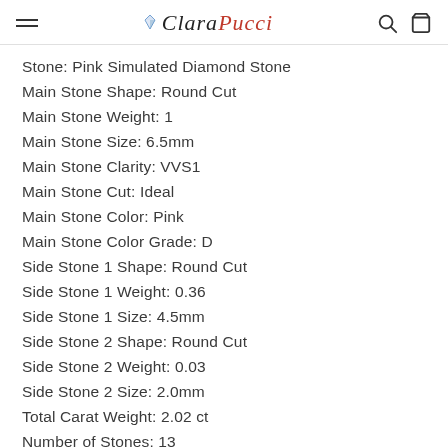Clara Pucci
Stone: Pink Simulated Diamond Stone
Main Stone Shape: Round Cut
Main Stone Weight: 1
Main Stone Size: 6.5mm
Main Stone Clarity: VVS1
Main Stone Cut: Ideal
Main Stone Color: Pink
Main Stone Color Grade: D
Side Stone 1 Shape: Round Cut
Side Stone 1 Weight: 0.36
Side Stone 1 Size: 4.5mm
Side Stone 2 Shape: Round Cut
Side Stone 2 Weight: 0.03
Side Stone 2 Size: 2.0mm
Total Carat Weight: 2.02 ct
Number of Stones: 13